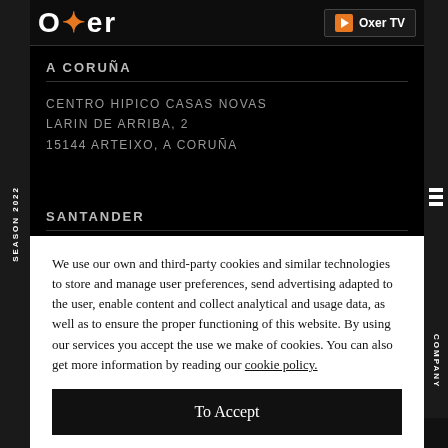Oxer TV
A CORUÑA
CENTRO HIPICO CASAS NOVAS
LARIN DE ARRIBA, 2
15144 ARTEIXO, A CORUÑA
SANTANDER
LA TORRE, 11 BAJO
We use our own and third-party cookies and similar technologies to store and manage user preferences, send advertising adapted to the user, enable content and collect analytical and usage data, as well as to ensure the proper functioning of this website. By using our services you accept the use we make of cookies. You can also get more information by reading our cookie policy.
To Accept
Copyright © 2019
SEASON 2022
COMPANY